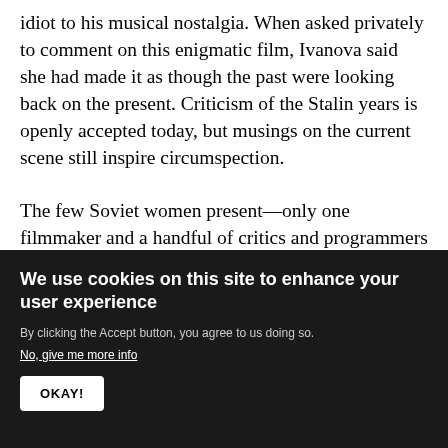idiot to his musical nostalgia. When asked privately to comment on this enigmatic film, Ivanova said she had made it as though the past were looking back on the present. Criticism of the Stalin years is openly accepted today, but musings on the current scene still inspire circumspection.

The few Soviet women present—only one filmmaker and a handful of critics and programmers—prompted repeated questions about women in Soviet films. Although seminar organizers insisted there were many women filmmakers in the USSR, their absence here belied such avowals. Although women frequently work
We use cookies on this site to enhance your user experience

By clicking the Accept button, you agree to us doing so.
No, give me more info

OKAY!